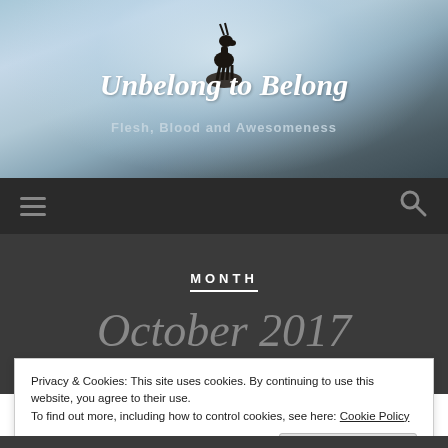[Figure (photo): Hero banner with mountain/sky background, fog and clouds, goat/ibex silhouette statue on a rock in center, with blog title and subtitle overlaid]
Unbelong to Belong
Flesh, Blood and Awesomeness
MONTH
October 2017
Privacy & Cookies: This site uses cookies. By continuing to use this website, you agree to their use.
To find out more, including how to control cookies, see here: Cookie Policy
Close and accept